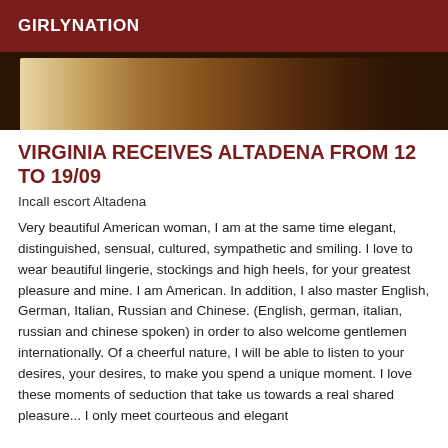GIRLYNATION
[Figure (photo): Photo strip showing warm brown tones, appears to be a partial view of a bedroom or similar setting]
VIRGINIA RECEIVES ALTADENA FROM 12 TO 19/09
Incall escort Altadena
Very beautiful American woman, I am at the same time elegant, distinguished, sensual, cultured, sympathetic and smiling. I love to wear beautiful lingerie, stockings and high heels, for your greatest pleasure and mine. I am American. In addition, I also master English, German, Italian, Russian and Chinese. (English, german, italian, russian and chinese spoken) in order to also welcome gentlemen internationally. Of a cheerful nature, I will be able to listen to your desires, your desires, to make you spend a unique moment. I love these moments of seduction that take us towards a real shared pleasure... I only meet courteous and elegant